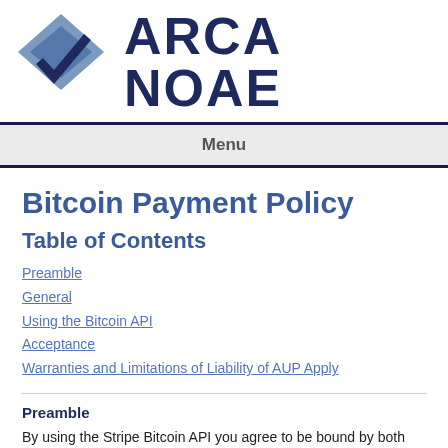[Figure (logo): Arca Noae logo: diamond/kite shape in blue-gray shades with a dark blue checkmark, next to bold text 'ARCA NOAE' in dark navy blue]
Menu
Bitcoin Payment Policy
Table of Contents
Preamble
General
Using the Bitcoin API
Acceptance
Warranties and Limitations of Liability of AUP Apply
Preamble
By using the Stripe Bitcoin API you agree to be bound by both